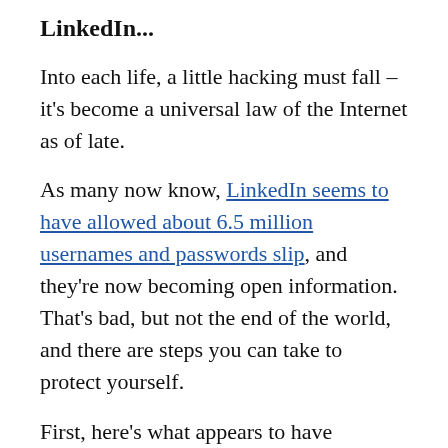LinkedIn...
Into each life, a little hacking must fall – it's become a universal law of the Internet as of late.
As many now know, LinkedIn seems to have allowed about 6.5 million usernames and passwords slip, and they're now becoming open information. That's bad, but not the end of the world, and there are steps you can take to protect yourself.
First, here's what appears to have happened. Somehow, a database of usernames (which for LinkedIn are email addresses) and passwords got into the wild. This was either an accidental